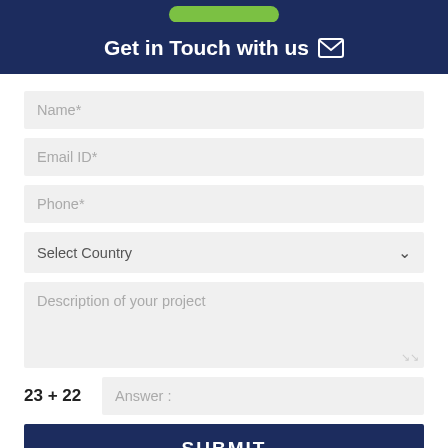Get in Touch with us
Name*
Email ID*
Phone*
Select Country
Description of your project
Answer :
SUBMIT